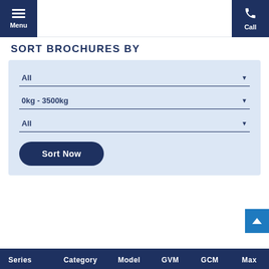Menu | Call
SORT BROCHURES BY
All (dropdown 1)
0kg - 3500kg (dropdown 2)
All (dropdown 3)
Sort Now
| Series | Category | Model | GVM | GCM | Max |
| --- | --- | --- | --- | --- | --- |